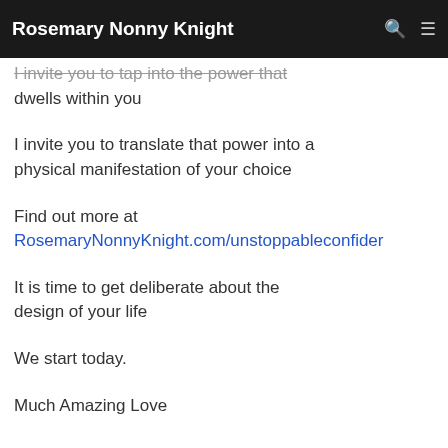Rosemary Nonny Knight
I invite you to tap into the power that dwells within you
I invite you to translate that power into a physical manifestation of your choice
Find out more at RosemaryNonnyKnight.com/unstoppableconfider
It is time to get deliberate about the design of your life
We start today.
Much Amazing Love